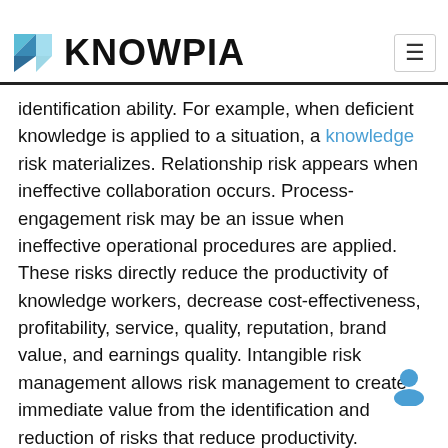KNOWPIA
identification ability. For example, when deficient knowledge is applied to a situation, a knowledge risk materializes. Relationship risk appears when ineffective collaboration occurs. Process-engagement risk may be an issue when ineffective operational procedures are applied. These risks directly reduce the productivity of knowledge workers, decrease cost-effectiveness, profitability, service, quality, reputation, brand value, and earnings quality. Intangible risk management allows risk management to create immediate value from the identification and reduction of risks that reduce productivity.
Opportunity cost represents a unique challenge to risk managers. It can be difficult to determine when to